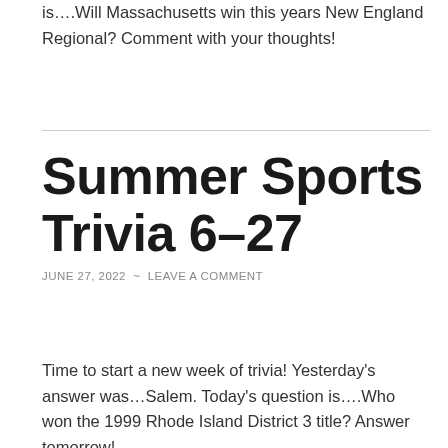is….Will Massachusetts win this years New England Regional? Comment with your thoughts!
Summer Sports Trivia 6-27
JUNE 27, 2022  ~  LEAVE A COMMENT
Time to start a new week of trivia! Yesterday's answer was…Salem. Today's question is….Who won the 1999 Rhode Island District 3 title? Answer tomorrow!